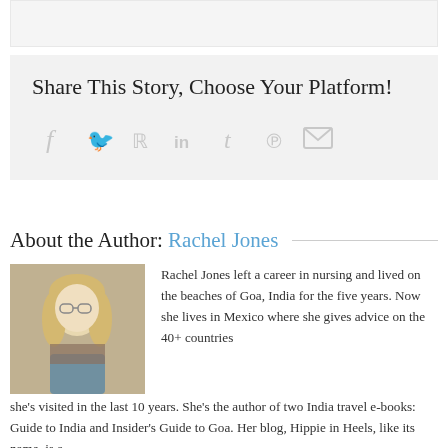[Figure (other): Top image placeholder banner]
Share This Story, Choose Your Platform!
[Figure (infographic): Social media sharing icons: Facebook, Twitter, Reddit, LinkedIn, Tumblr, Pinterest, Email]
About the Author: Rachel Jones
[Figure (photo): Photo of Rachel Jones, a blonde woman sitting outdoors]
Rachel Jones left a career in nursing and lived on the beaches of Goa, India for the five years. Now she lives in Mexico where she gives advice on the 40+ countries she's visited in the last 10 years. She's the author of two India travel e-books: Guide to India and Insider's Guide to Goa. Her blog, Hippie in Heels, like its name, is a